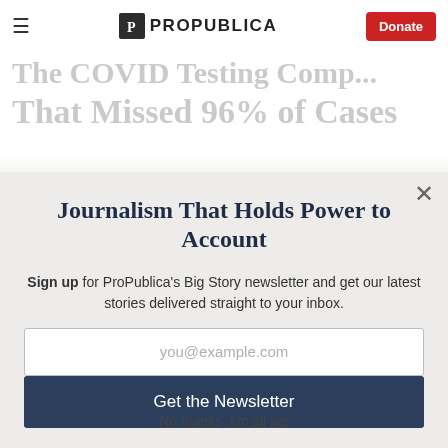ProPublica — Donate
That Missed 96% of Cases
Journalism That Holds Power to Account
Sign up for ProPublica's Big Story newsletter and get our latest stories delivered straight to your inbox.
you@example.com
Get the Newsletter
No thanks, I'm all set
This site is protected by reCAPTCHA and the Google Privacy Policy and Terms of Service apply.